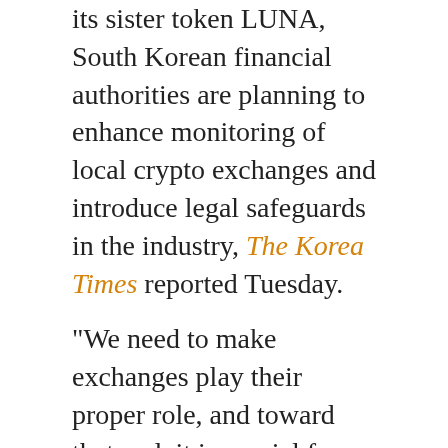its sister token LUNA, South Korean financial authorities are planning to enhance monitoring of local crypto exchanges and introduce legal safeguards in the industry, The Korea Times reported Tuesday.
“We need to make exchanges play their proper role, and toward that end, it is crucial for watchdogs to supervise them thoroughly,” Rep. Sung Il-jong of the ruling People Power Party said during a National Assembly emergency meeting. “When exchanges violate rules, they should be held legally responsible to ensure that the market functions well without any troubles.”
GooglePlay: Crypto Tracker App
Track live crypto price of 10000+ coins!